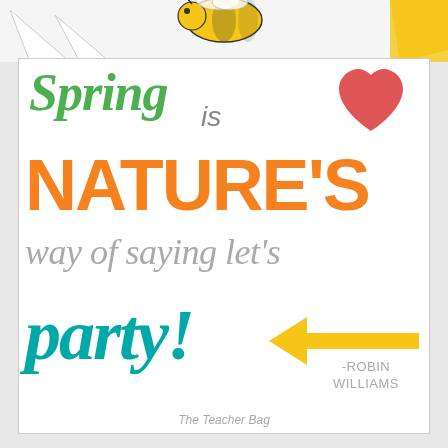[Figure (illustration): Top strip showing partial illustration of a bee and decorative elements against a light background]
Spring is ❤ NATURE'S way of saying let's party!
-Robin Williams
The Teacher Bag